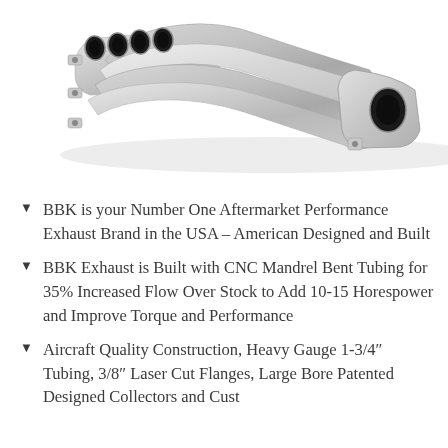[Figure (photo): Polished chrome/nickel exhaust header manifold viewed from above-left angle, showing multiple curved tubes merging into collector, with mounting flanges visible.]
BBK is your Number One Aftermarket Performance Exhaust Brand in the USA – American Designed and Built
BBK Exhaust is Built with CNC Mandrel Bent Tubing for 35% Increased Flow Over Stock to Add 10-15 Horespower and Improve Torque and Performance
Aircraft Quality Construction, Heavy Gauge 1-3/4" Tubing, 3/8" Laser Cut Flanges, Large Bore Patented Designed Collectors and Custom...